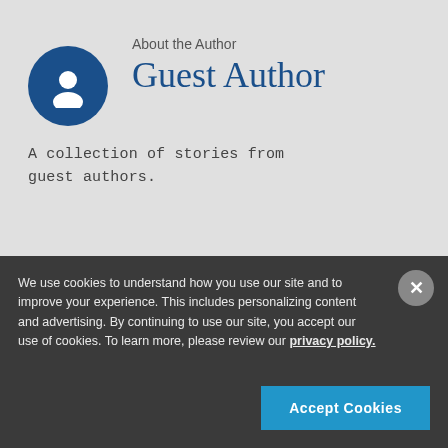[Figure (illustration): Blue circle with white person/user silhouette icon representing guest author avatar]
About the Author
Guest Author
A collection of stories from guest authors.
We use cookies to understand how you use our site and to improve your experience. This includes personalizing content and advertising. By continuing to use our site, you accept our use of cookies. To learn more, please review our privacy policy.
Accept Cookies